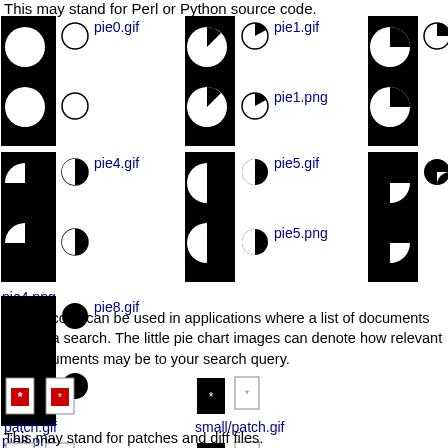This may stand for Perl or Python source code.
[Figure (illustration): Grid of pie chart icons: pie0.gif, pie0.png, pie1.gif, pie1.png, pie2.gif, pie2.png, pie4.gif, pie4.png, pie5.gif, pie5.png, pie6.gif, pie6.png, pie8.gif, pie8.png - showing progressively filled pie chart images in GIF and PNG formats]
These icons can be used in applications where a list of documents is from a search. The little pie chart images can denote how relevant the documents may be to your search query.
[Figure (illustration): patch.gif, patch.png, small/patch.gif, small/patch.png icons showing document/patch file images]
This may stand for patches and diff files.